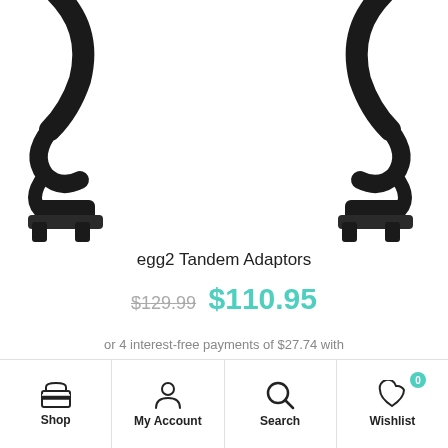[Figure (photo): Product photo of egg2 Tandem Adaptors — black plastic headset adaptor clips shown from above, partially cropped, two units visible]
egg2 Tandem Adaptors
$129.99  $110.95
or 4 interest-free payments of $27.74 with afterpay
Shop | My Account | Search | Wishlist